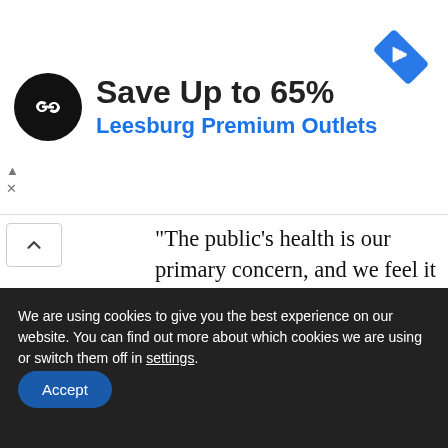[Figure (infographic): Advertisement banner: Leesburg Premium Outlets, Save Up to 65%, with a black circular logo featuring a double arrow infinity symbol and a blue diamond navigation icon on the right]
“The public’s health is our primary concern, and we feel it is important to provide them with the most up-to-date information so they can work with their healthcare providers to protect themselves and their families,” said State Epidemiologist Dr. Sarah Park. “At the same time, we also want the public to understand that these businesses and the other previously affected food establishments are
We are using cookies to give you the best experience on our website. You can find out more about which cookies we are using or switch them off in settings.